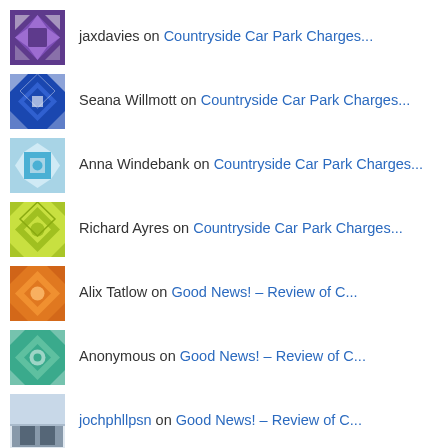jaxdavies on Countryside Car Park Charges...
Seana Willmott on Countryside Car Park Charges...
Anna Windebank on Countryside Car Park Charges...
Richard Ayres on Countryside Car Park Charges...
Alix Tatlow on Good News! – Review of C...
Anonymous on Good News! – Review of C...
jochphllpsn on Good News! – Review of C...
SIGN UP TO FOLLOW US VIA EMAIL
Enter your email address to follow this web site and